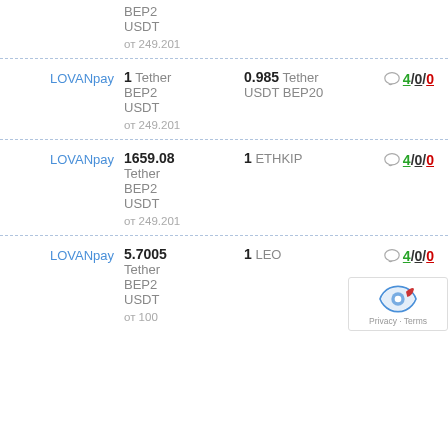BEP2 USDT
от 249.201
LOVANpay | 1 Tether BEP2 USDT от 249.201 | 0.985 Tether USDT BEP20 | 4/0/0
LOVANpay | 1659.08 Tether BEP2 USDT от 249.201 | 1 ETHKIP | 4/0/0
LOVANpay | 5.7005 Tether BEP2 USDT от 100 | 1 LEO | 4/0/0